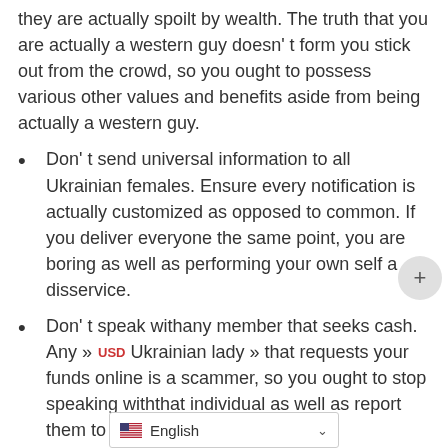they are actually spoilt by wealth. The truth that you are actually a western guy doesn't form you stick out from the crowd, so you ought to possess various other values and benefits aside from being actually a western guy.
Don't send universal information to all Ukrainian females. Ensure every notification is actually customized as opposed to common. If you deliver everyone the same point, you are boring as well as performing your own self a disservice.
Don't speak withany member that seeks cash. Any » Ukrainian lady » that requests your funds online is a scammer, so you ought to stop speaking withthat individual as well as report them to the web site manager asap.
Don't stop complying withfemales offline. On the web dating is simply a component of it, thus you still need to have to maintain meeting muchmore women offline. This are going to not just boost your social capabilities, however additionally give you more possibi